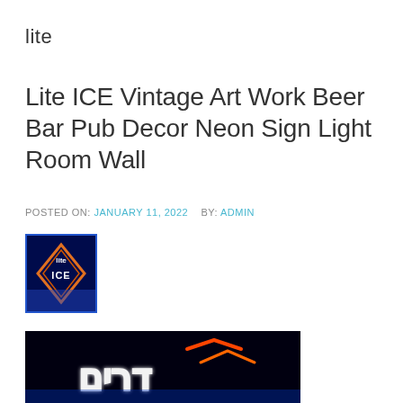lite
Lite ICE Vintage Art Work Beer Bar Pub Decor Neon Sign Light Room Wall
POSTED ON: JANUARY 11, 2022   BY: ADMIN
[Figure (photo): Thumbnail image of Lite ICE neon beer sign with orange diamond frame on dark blue background]
[Figure (photo): Larger neon sign photo showing white and orange/red glowing neon letters on black background]